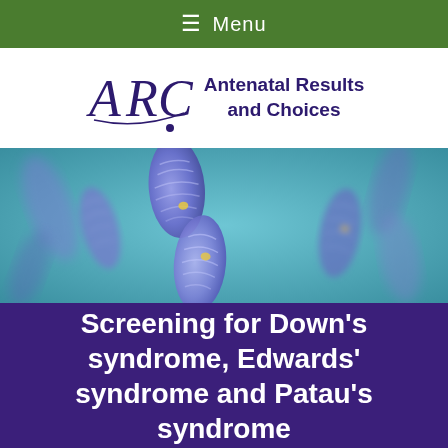≡ Menu
[Figure (logo): ARC – Antenatal Results and Choices logo with stylized ARC lettering and tagline]
[Figure (photo): Close-up scientific illustration of blue-purple chromosomes on a teal/blue blurred background]
Screening for Down's syndrome, Edwards' syndrome and Patau's syndrome